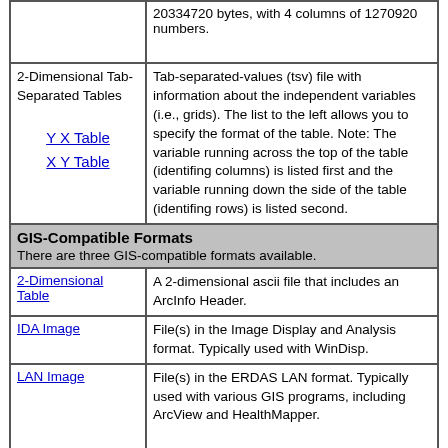| Format | Description |
| --- | --- |
| (partial top row) | 20334720 bytes, with 4 columns of 1270920 numbers. |
| 2-Dimensional Tab-Separated Tables

Y X Table
X Y Table | Tab-separated-values (tsv) file with information about the independent variables (i.e., grids). The list to the left allows you to specify the format of the table. Note: The variable running across the top of the table (identifing columns) is listed first and the variable running down the side of the table (identifing rows) is listed second. |
| GIS-Compatible Formats
There are three GIS-compatible formats available. |  |
| 2-Dimensional Table | A 2-dimensional ascii file that includes an ArcInfo Header. |
| IDA Image | File(s) in the Image Display and Analysis format. Typically used with WinDisp. |
| LAN Image | File(s) in the ERDAS LAN format. Typically used with various GIS programs, including ArcView and HealthMapper. |